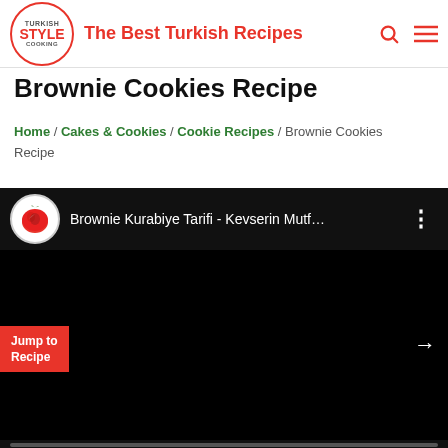The Best Turkish Recipes
Brownie Cookies Recipe
Home / Cakes & Cookies / Cookie Recipes / Brownie Cookies Recipe
[Figure (screenshot): Embedded YouTube video player showing 'Brownie Kurabiye Tarifi - Kevserin Mutf...' with a black video frame, a Jump to Recipe button, playback controls showing 0:00 / 4:38, and a YouTube logo.]